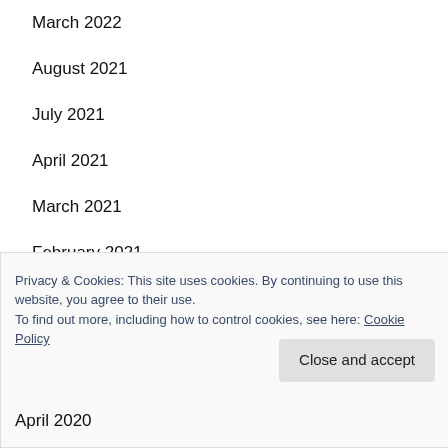March 2022
August 2021
July 2021
April 2021
March 2021
February 2021
January 2021
Privacy & Cookies: This site uses cookies. By continuing to use this website, you agree to their use.
To find out more, including how to control cookies, see here: Cookie Policy
April 2020